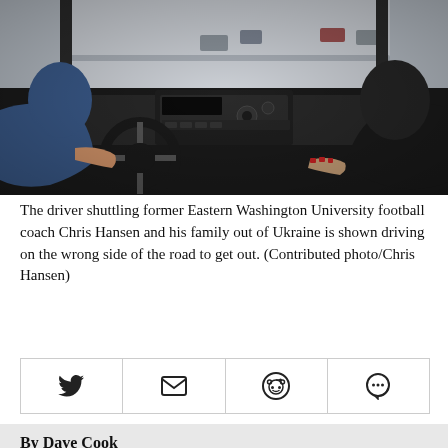[Figure (photo): Interior view from back seat of a van showing driver and passenger from behind, with dashboard, steering wheel, radio controls visible. Outside the windshield is a snowy highway scene with cars visible on the road.]
The driver shuttling former Eastern Washington University football coach Chris Hansen and his family out of Ukraine is shown driving on the wrong side of the road to get out. (Contributed photo/Chris Hansen)
[Figure (infographic): Social sharing bar with four icon buttons: Twitter bird icon, email/envelope icon, Reddit icon, and speech bubble/comment icon.]
By Dave Cook
For The Spokesman-Review